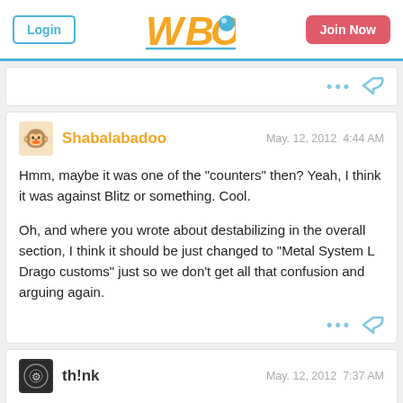WBO Forum header with Login button, WBO logo, and Join Now button
... (reply icons)
Shabalabadoo  May. 12, 2012  4:44 AM
Hmm, maybe it was one of the "counters" then? Yeah, I think it was against Blitz or something. Cool.

Oh, and where you wrote about destabilizing in the overall section, I think it should be just changed to "Metal System L Drago customs" just so we don't get all that confusion and arguing again.
th!nk  May. 12, 2012  7:37 AM
It did fairly well against blitz and would have been a